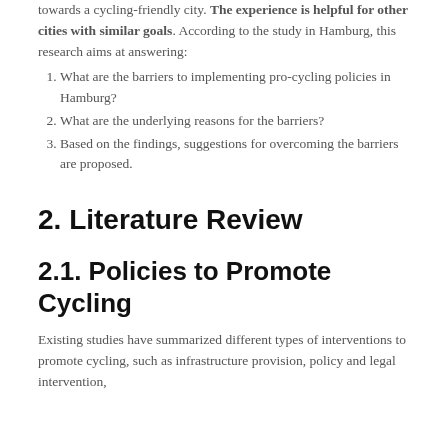towards a cycling-friendly city. The experience is helpful for other cities with similar goals. According to the study in Hamburg, this research aims at answering:
1. What are the barriers to implementing pro-cycling policies in Hamburg?
2. What are the underlying reasons for the barriers?
3. Based on the findings, suggestions for overcoming the barriers are proposed.
2. Literature Review
2.1. Policies to Promote Cycling
Existing studies have summarized different types of interventions to promote cycling, such as infrastructure provision, policy and legal intervention,